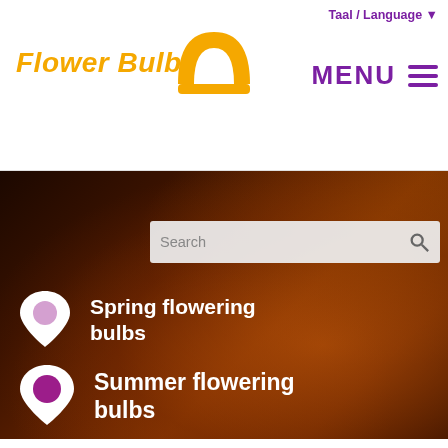Taal / Language ▼
[Figure (logo): Flower Bulbs logo with golden onion bulb icon and italic orange text]
MENU ≡
[Figure (screenshot): Dark hero banner with orange/red flower background, search bar, Spring flowering bulbs and Summer flowering bulbs navigation items with icon markers]
Home > Summer flowering bulbs > News > Summer bulbs: plant, wait and enjoy
[Figure (illustration): Small icon showing list with flower symbol, purple border]